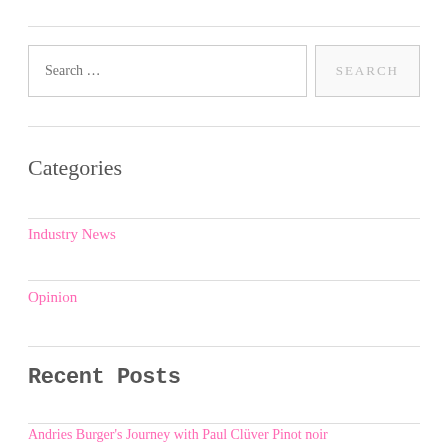Search …
Categories
Industry News
Opinion
Recent Posts
Andries Burger's Journey with Paul Clüver Pinot noir